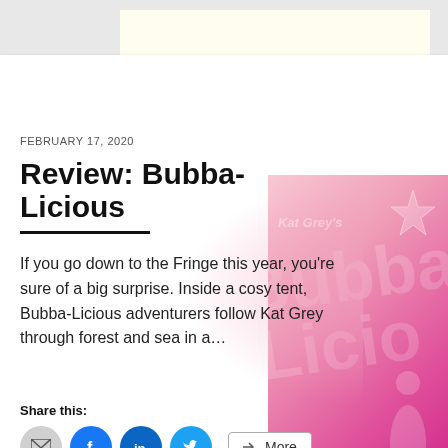FEBRUARY 17, 2020
Review: Bubba-Licious
If you go down to the Fringe this year, you’re sure of a big surprise. Inside a cosy tent, Bubba-Licious adventurers follow Kat Grey through forest and sea in a…
Share this: